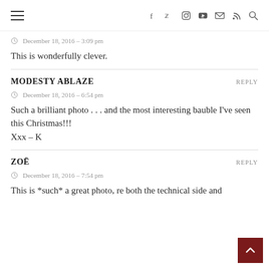Navigation header with hamburger menu and social icons
December 18, 2016 - 3:09 pm
This is wonderfully clever.
MODESTY ABLAZE
December 18, 2016 - 6:54 pm
Such a brilliant photo . . . and the most interesting bauble I've seen this Christmas!!!
Xxx – K
ZOË
December 18, 2016 - 7:54 pm
This is *such* a great photo, re both the technical side and